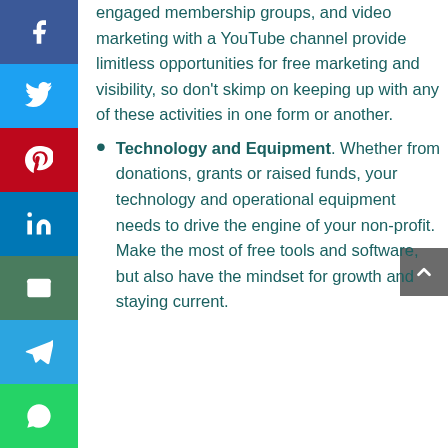engaged membership groups, and video marketing with a YouTube channel provide limitless opportunities for free marketing and visibility, so don't skimp on keeping up with any of these activities in one form or another.
Technology and Equipment. Whether from donations, grants or raised funds, your technology and operational equipment needs to drive the engine of your non-profit. Make the most of free tools and software, but also have the mindset for growth and staying current.